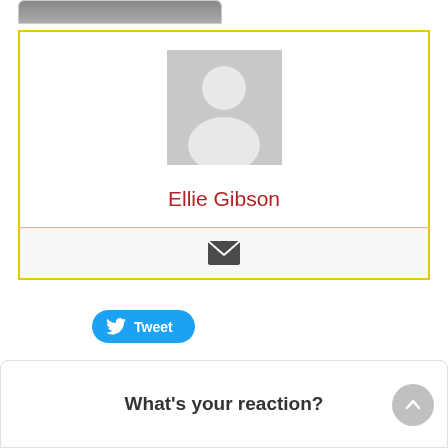[Figure (photo): Partial view of a card or image at the top of the page, partially cropped]
[Figure (photo): Author profile card with yellow border. Contains a generic grey placeholder avatar image and the author name 'Ellie Gibson' in dark red, plus an email icon below.]
Ellie Gibson
[Figure (other): Tweet button with Twitter bird logo and text 'Tweet' on blue rounded button]
What's your reaction?